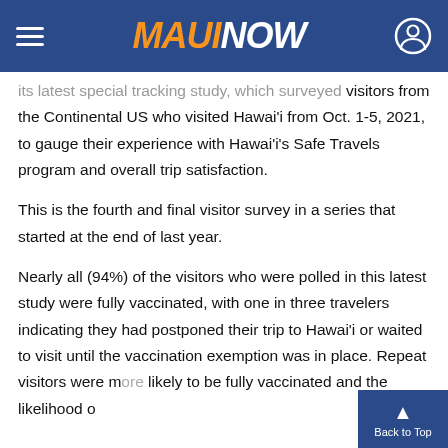MAUI NOW
its latest special tracking study, which surveyed visitors from the Continental US who visited Hawaiʻi from Oct. 1-5, 2021, to gauge their experience with Hawaiʻi’s Safe Travels program and overall trip satisfaction.
This is the fourth and final visitor survey in a series that started at the end of last year.
Nearly all (94%) of the visitors who were polled in this latest study were fully vaccinated, with one in three travelers indicating they had postponed their trip to Hawaiʻi or waited to visit until the vaccination exemption was in place. Repeat visitors were more likely to be fully vaccinated and the likelihood o